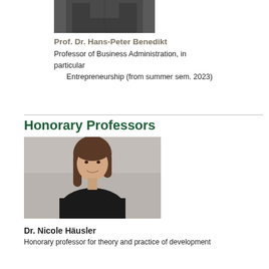[Figure (photo): Partial photo of Prof. Dr. Hans-Peter Benedikt, showing lower torso/chest area in dark clothing]
Prof. Dr. Hans-Peter Benedikt
Professor of Business Administration, in particular
Entrepreneurship (from summer sem. 2023)
Honorary Professors
[Figure (photo): Portrait photo of Dr. Nicole Häusler, a woman with shoulder-length brown hair wearing a black top, smiling, against a grey background]
Dr. Nicole Häusler
Honorary professor for...